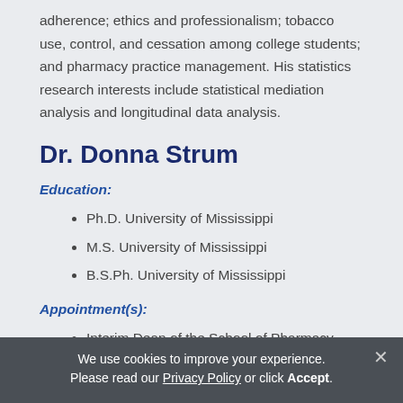adherence; ethics and professionalism; tobacco use, control, and cessation among college students; and pharmacy practice management. His statistics research interests include statistical mediation analysis and longitudinal data analysis.
Dr. Donna Strum
Education:
Ph.D. University of Mississippi
M.S. University of Mississippi
B.S.Ph. University of Mississippi
Appointment(s):
Interim Dean of the School of Pharmacy
We use cookies to improve your experience. Please read our Privacy Policy or click Accept.